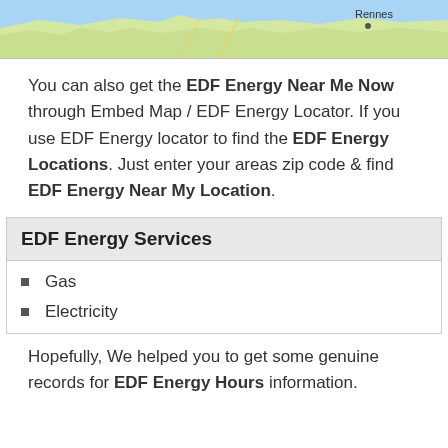[Figure (map): Partial map image showing a coastal region with 'Rennes' label and a dot marker, blue water area visible]
You can also get the EDF Energy Near Me Now through Embed Map / EDF Energy Locator. If you use EDF Energy locator to find the EDF Energy Locations. Just enter your areas zip code & find EDF Energy Near My Location.
EDF Energy Services
Gas
Electricity
Hopefully, We helped you to get some genuine records for EDF Energy Hours information.